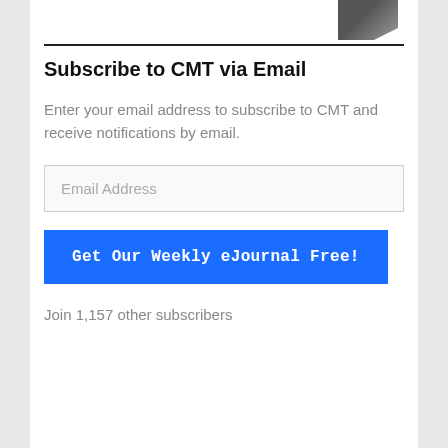[Figure (photo): Partial view of an object (dark colored) visible at the top right corner of the page, cropped]
Subscribe to CMT via Email
Enter your email address to subscribe to CMT and receive notifications by email.
Email Address
Get Our Weekly eJournal Free!
Join 1,157 other subscribers